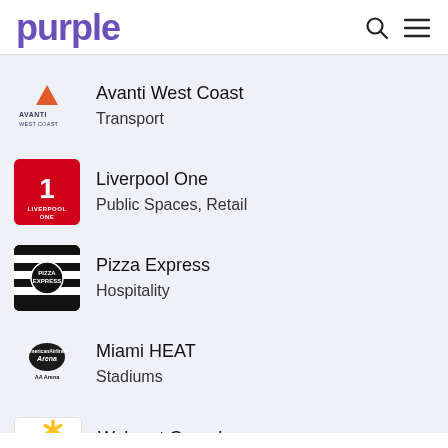purple
Avanti West Coast
Transport
Liverpool One
Public Spaces, Retail
Pizza Express
Hospitality
Miami HEAT
Stadiums
Walmart Canada
Retail